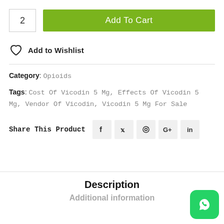2
Add To Cart
Add to Wishlist
Category: Opioids
Tags: Cost Of Vicodin 5 Mg, Effects Of Vicodin 5 Mg, Vendor Of Vicodin, Vicodin 5 Mg For Sale
Share This Product
Description
Additional information